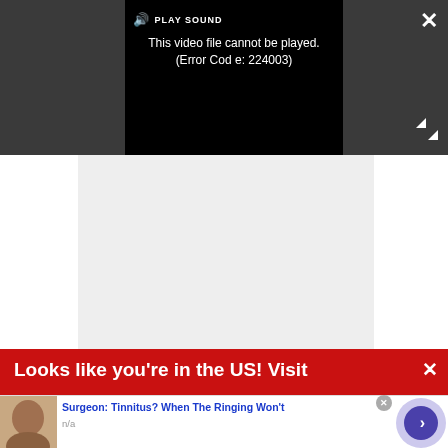[Figure (screenshot): Video player showing error message: 'This video file cannot be played. (Error Code: 224003)' with play sound button and dark background]
This video file cannot be played. (Error Code: 224003)
[Figure (screenshot): Light grey empty content area below the video player]
Looks like you're in the US! Visit
Surgeon: Tinnitus? When The Ringing Won't
n/a